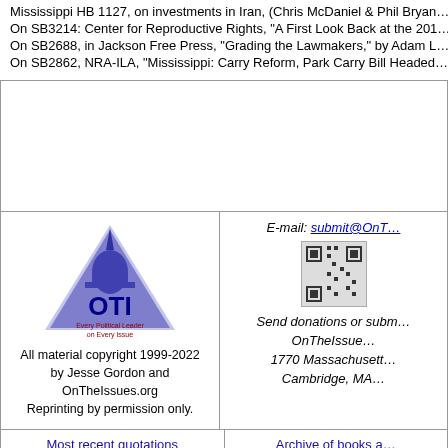Mississippi HB 1127, on investments in Iran, (Chris McDaniel & Phil Brya…
On SB3214: Center for Reproductive Rights, "A First Look Back at the 201…
On SB2688, in Jackson Free Press, "Grading the Lawmakers," by Adam L…
On SB2862, NRA-ILA, "Mississippi: Carry Reform, Park Carry Bill Headed…
[Figure (logo): OTI - OnTheIssues.org logo with text 'Every Political Leader on Every Issue']
All material copyright 1999-2022
by Jesse Gordon and OnTheIssues.org
Reprinting by permission only.
E-mail: submit@OnT…
Send donations or subm…
OnTheIssue…
1770 Massachusett…
Cambridge, MA…
Most recent quotations
Archive of books a…
Page last edited: Dec 02, 2021